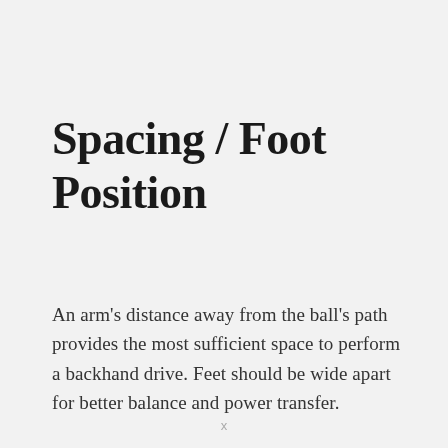Spacing / Foot Position
An arm's distance away from the ball's path provides the most sufficient space to perform a backhand drive. Feet should be wide apart for better balance and power transfer.
x